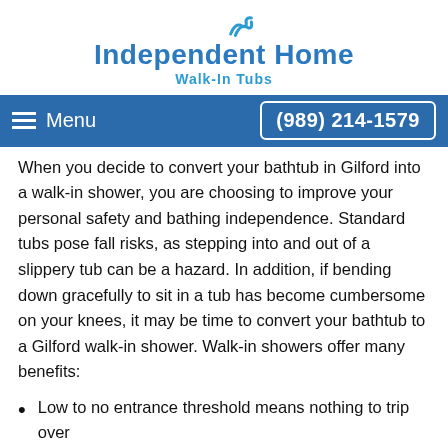[Figure (logo): Independent Home Walk-In Tubs logo with blue wave icon and blue text]
Menu   (989) 214-1579
When you decide to convert your bathtub in Gilford into a walk-in shower, you are choosing to improve your personal safety and bathing independence. Standard tubs pose fall risks, as stepping into and out of a slippery tub can be a hazard. In addition, if bending down gracefully to sit in a tub has become cumbersome on your knees, it may be time to convert your bathtub to a Gilford walk-in shower. Walk-in showers offer many benefits:
Low to no entrance threshold means nothing to trip over
Nonskid flooring prevents slips and falls
Well-placed grab bars will make showering safe